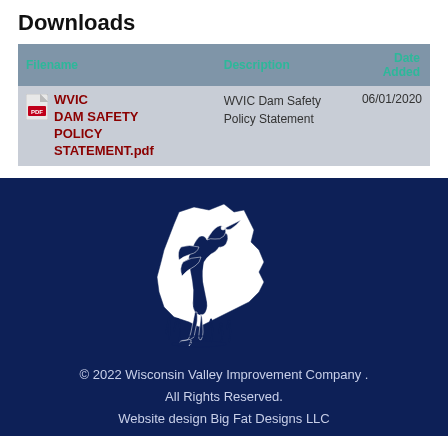Downloads
| Filename | Description | Date Added |
| --- | --- | --- |
| WVIC DAM SAFETY POLICY STATEMENT.pdf | WVIC Dam Safety Policy Statement | 06/01/2020 |
[Figure (logo): Wisconsin Valley Improvement Company logo: heron bird on Wisconsin state outline, navy blue on white, line art style]
© 2022 Wisconsin Valley Improvement Company . All Rights Reserved. Website design Big Fat Designs LLC